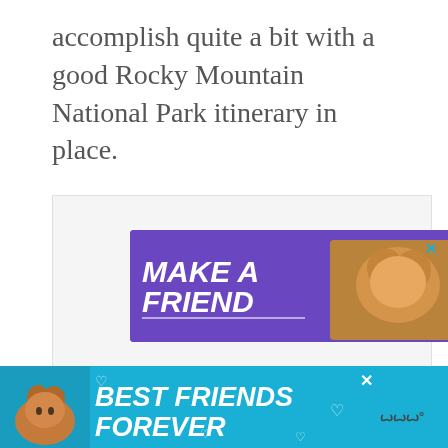accomplish quite a bit with a good Rocky Mountain National Park itinerary in place.
[Figure (other): Advertisement banner with purple background showing a dog and the text 'MAKE A FRIEND']
[Figure (other): Bottom advertisement banner with teal/cyan background showing a cat and the text 'BEST FRIENDS FOREVER']